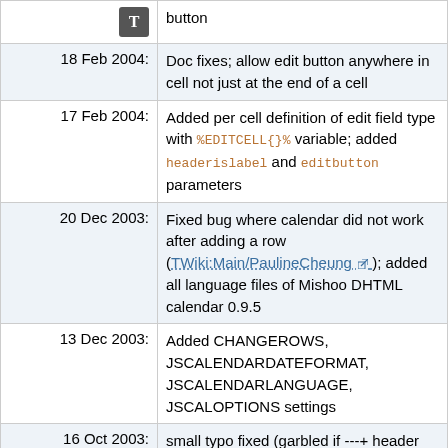| Date | Description |
| --- | --- |
|  | button |
| 18 Feb 2004: | Doc fixes; allow edit button anywhere in cell not just at the end of a cell |
| 17 Feb 2004: | Added per cell definition of edit field type with %EDITCELL{}% variable; added headerislabel and editbutton parameters |
| 20 Dec 2003: | Fixed bug where calendar did not work after adding a row (TWiki:Main/PaulineCheung); added all language files of Mishoo DHTML calendar 0.9.5 |
| 13 Dec 2003: | Added CHANGEROWS, JSCALENDARDATEFORMAT, JSCALENDARLANGUAGE, JSCALOPTIONS settings |
| 16 Oct 2003: | small typo fixed (garbled if ---+ header on top) |
| 15 Oct 2003: | new date field type with javascript calendar. CN. |